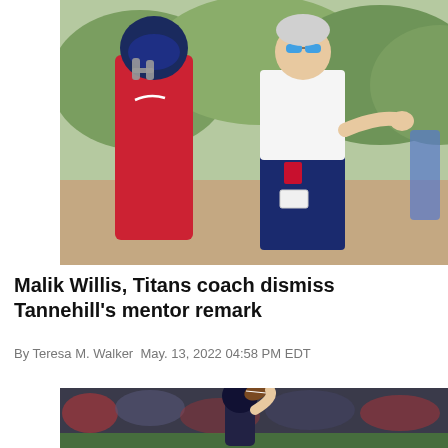[Figure (photo): A football player in a red jersey and helmet talking with a coach in a white and navy jacket wearing sunglasses, on a practice field with green trees in the background.]
Malik Willis, Titans coach dismiss Tannehill's mentor remark
By Teresa M. Walker May. 13, 2022 04:58 PM EDT
[Figure (photo): A football player in a dark helmet throwing or holding a football up, with a crowd in the background.]